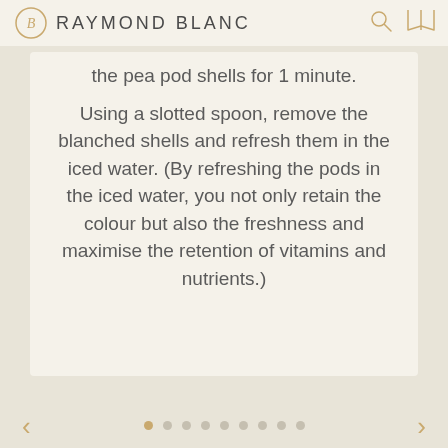RAYMOND BLANC
the pea pod shells for 1 minute.
Using a slotted spoon, remove the blanched shells and refresh them in the iced water. (By refreshing the pods in the iced water, you not only retain the colour but also the freshness and maximise the retention of vitamins and nutrients.)